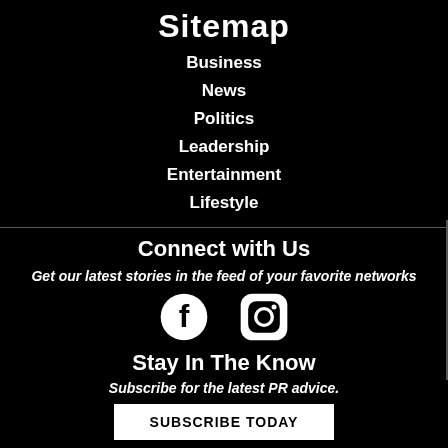Sitemap
Business
News
Politics
Leadership
Entertainment
Lifestyle
Connect with Us
Get our latest stories in the feed of your favorite networks
[Figure (illustration): Facebook and Instagram social media icons]
Stay In The Know
Subscribe for the latest PR advice.
SUBSCRIBE TODAY